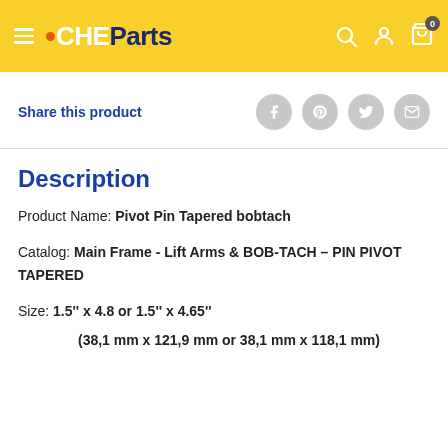CHEParts — navigation header with logo, search, account, and cart icons
Share this product
Description
Product Name: Pivot Pin Tapered bobtach
Catalog: Main Frame - Lift Arms & BOB-TACH - PIN PIVOT TAPERED
Size: 1.5'' x 4.8 or 1.5'' x 4.65''
(38,1 mm x 121,9 mm or 38,1 mm x 118,1 mm)